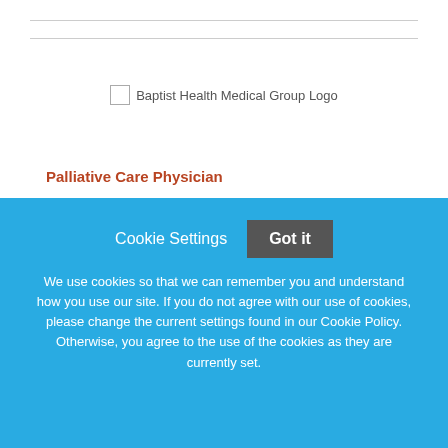[Figure (logo): Baptist Health Medical Group Logo placeholder image]
Palliative Care Physician
Baptist Health Medical Group
South Florida, Florida
Cookie Settings   Got it

We use cookies so that we can remember you and understand how you use our site. If you do not agree with our use of cookies, please change the current settings found in our Cookie Policy. Otherwise, you agree to the use of the cookies as they are currently set.